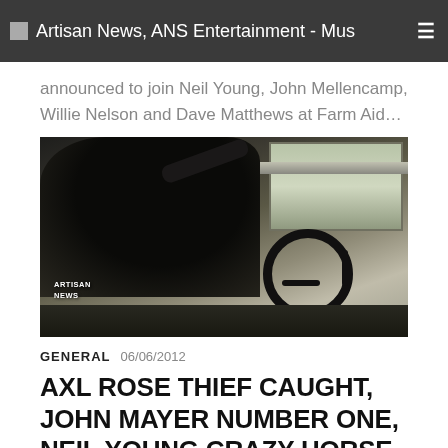Artisan News, ANS Entertainment - Mus
announced to join Neil Young, John Mellencamp, Willie Nelson and Dave Matthews at Farm Aid…
[Figure (photo): Person sitting in vehicle driver seat, holding steering wheel, viewed from side/rear angle. ARTISAN NEWS watermark in lower left corner.]
GENERAL  06/06/2012
AXL ROSE THIEF CAUGHT, JOHN MAYER NUMBER ONE, NEIL YOUNG CRAZY HORSE TOUR